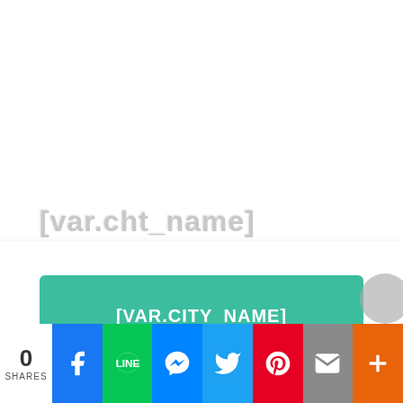[var.cht_name]
25%OFF
[Figure (other): Blurred barcode placeholder in coupon card area]
[VAR.CITY_NAME]
0 SHARES
[Figure (infographic): Social share bar with Facebook, LINE, Messenger, Twitter, Pinterest, Email, and More buttons]